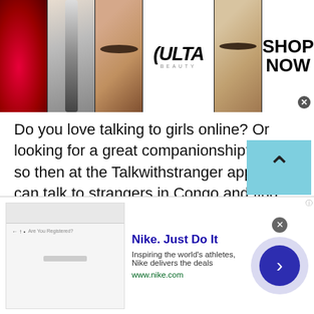[Figure (photo): Top banner advertisement for ULTA Beauty showing makeup photos (red lips, makeup brush, eye with eye makeup) alongside ULTA logo and SHOP NOW call to action]
Do you love talking to girls online? Or looking for a great companionship? If it's so then at the Talkwithstranger app you can talk to strangers in Congo and find your best match or true companion. Well, TWS girls chat room is not only restricted to boy-to-girl talk, it can be a girl-to-girl talk. Yes, girls can also have fun and experience incredible excitement because of talkwithstranger simplicity, authenticity and reliability.
[Figure (screenshot): Nike Just Do It advertisement banner showing Nike ad thumbnail, title 'Nike. Just Do It', description 'Inspiring the world's athletes, Nike delivers the deals', url 'www.nike.com', with a circular blue arrow button on the right]